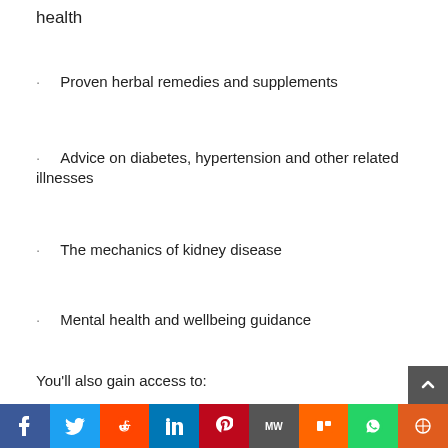health
Proven herbal remedies and supplements
Advice on diabetes, hypertension and other related illnesses
The mechanics of kidney disease
Mental health and wellbeing guidance
You'll also gain access to:
Step-by-step natural treatment plan to improve kidney function and health
f  Twitter  Reddit  in  Pinterest  MW  Mix  WhatsApp  Share